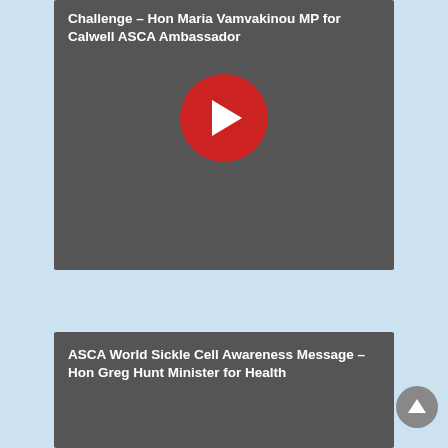[Figure (screenshot): Video player card with dark grey background showing title text at top and a red circular play button in the center. Title: 'Challenge – Hon Maria Vamvakinou MP for Calwell ASCA Ambassador']
ASCA World Sickle Cell Awareness Message – Hon Greg Hunt Minister for Health